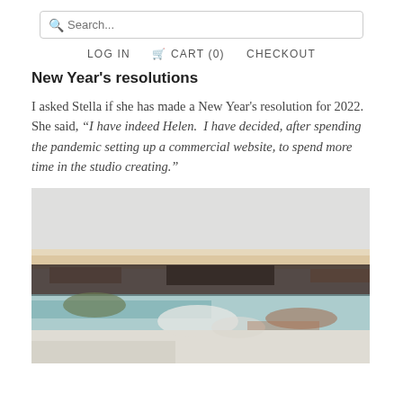Search...
LOG IN  CART (0)  CHECKOUT
New Year's resolutions
I asked Stella if she has made a New Year's resolution for 2022. She said, “I have indeed Helen.  I have decided, after spending the pandemic setting up a commercial website, to spend more time in the studio creating.”
[Figure (photo): Abstract landscape painting with muted tones — pale grey sky, a horizontal band of warm beige/peach near the horizon, dark earthy landmass in the middle, and hints of teal/blue water with white and russet accents in the foreground.]